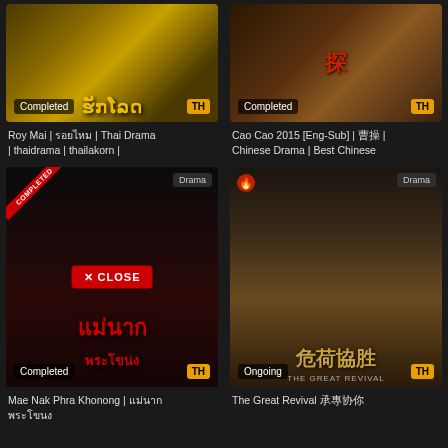[Figure (screenshot): Roy Mai Thai drama thumbnail with golden Thai script, Completed badge, TH badge]
Roy Mai | รอยไหม | Thai Drama | thaidrama | thailakorn |
[Figure (screenshot): Cao Cao 2015 Chinese drama thumbnail with Chinese characters, Completed badge, TH badge]
Cao Cao 2015 [Eng-Sub] | 曹操 | Chinese Drama | Best Chinese
[Figure (screenshot): Mae Nak Phra Khonong Thai drama poster, dark romantic image with red Thai title text, COMPLETED ribbon, Drama badge, CLOSE button, Completed badge, TH badge]
Mae Nak Phra Khonong | แม่นากพระโขนง
[Figure (screenshot): The Great Revival Chinese historical drama poster with group of actors, Chinese title characters, Ongoing badge, TH badge]
The Great Revival 承刘卵傅